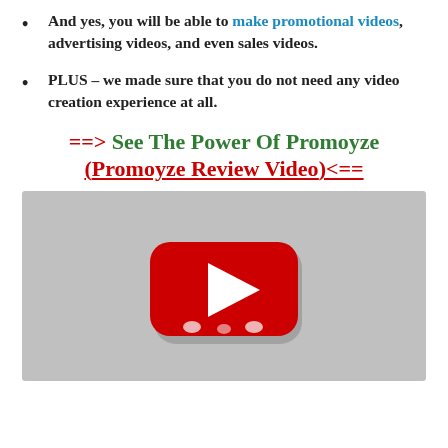And yes, you will be able to make promotional videos, advertising videos, and even sales videos.
PLUS – we made sure that you do not need any video creation experience at all.
==> See The Power Of Promoyze (Promoyze Review Video)<==
[Figure (screenshot): YouTube video thumbnail placeholder showing a gray background with a YouTube-style play button (red rounded rectangle with white triangle) in the center.]